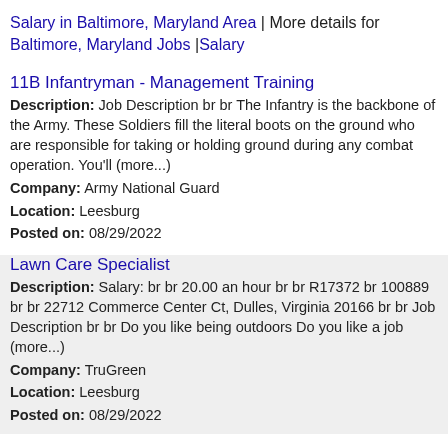Salary in Baltimore, Maryland Area | More details for Baltimore, Maryland Jobs |Salary
11B Infantryman - Management Training
Description: Job Description br br The Infantry is the backbone of the Army. These Soldiers fill the literal boots on the ground who are responsible for taking or holding ground during any combat operation. You'll (more...)
Company: Army National Guard
Location: Leesburg
Posted on: 08/29/2022
Lawn Care Specialist
Description: Salary: br br 20.00 an hour br br R17372 br 100889 br br 22712 Commerce Center Ct, Dulles, Virginia 20166 br br Job Description br br Do you like being outdoors Do you like a job (more...)
Company: TruGreen
Location: Leesburg
Posted on: 08/29/2022
Team Member
Description: Amazing Opportunity 11 - 14/hourAn opportunity with